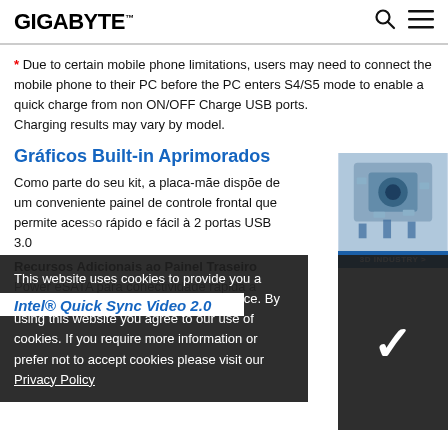GIGABYTE
* Due to certain mobile phone limitations, users may need to connect the mobile phone to their PC before the PC enters S4/S5 mode to enable a quick charge from non ON/OFF Charge USB ports.
Charging results may vary by model.
Gráficos Built-in Aprimorados
Como parte do seu kit, a placa-mãe dispõe de um conveniente painel de controle frontal que permite acesso rápido e fácil à 2 portas USB 3.0
Recursos Adicionais ao Painel Traseiro
Power eSATA para conectividade rápida a unidades...
[Figure (other): 3D Industry advertisement image with circuit board graphic and '3D INDUSTRY >' label]
This website uses cookies to provide you a more personalized and responsive service. By using this website you agree to our use of cookies. If you require more information or prefer not to accept cookies please visit our Privacy Policy
Intel® Quick Sync Video 2.0